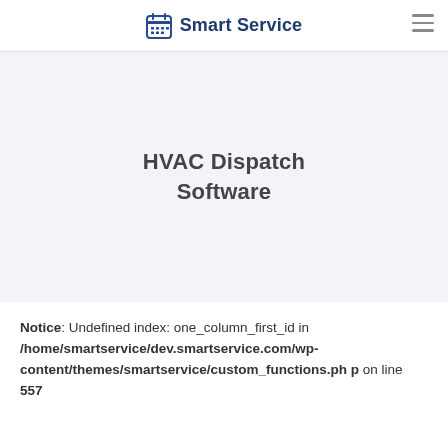Smart Service
HVAC Dispatch Software
Notice: Undefined index: one_column_first_id in /home/smartservice/dev.smartservice.com/wp-content/themes/smartservice/custom_functions.php on line 557